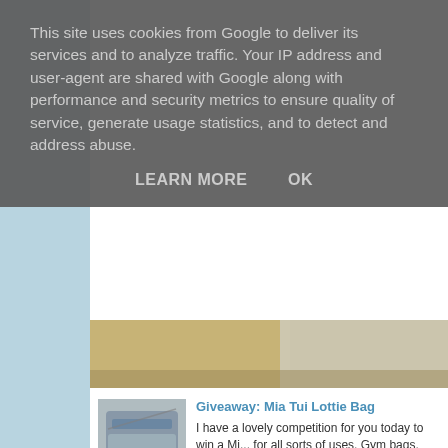This site uses cookies from Google to deliver its services and to analyze traffic. Your IP address and user-agent are shared with Google along with performance and security metrics to ensure quality of service, generate usage statistics, and to detect and address abuse.
LEARN MORE    OK
[Figure (photo): Partial photo strip showing furniture/room scene]
Giveaway: Mia Tui Lottie Bag
I have a lovely competition for you today to win a M... for all sorts of uses, Gym bags, Changing bags, ...
[Figure (photo): Thumbnail image of a grey crossbody bag (Mia Tui Lottie Bag)]
Veggie Quorn Lasagne with and my Dolmio bargain...
Are you ready for a very quick and easy Veggie Din... the middle of a quick dash into Iceland to get som...
[Figure (photo): Thumbnail image of a Nobo branded white product packaging]